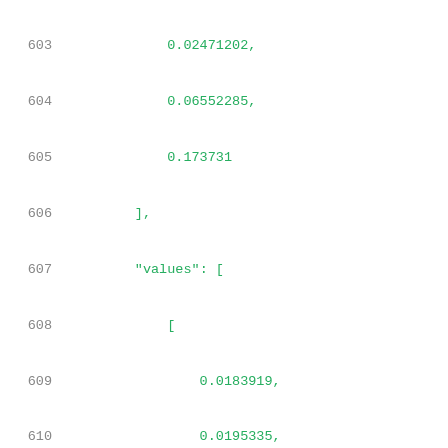Code listing lines 603-624 showing JSON numeric array data with values including 0.02471202, 0.06552285, 0.173731, values array with nested arrays of floating point numbers